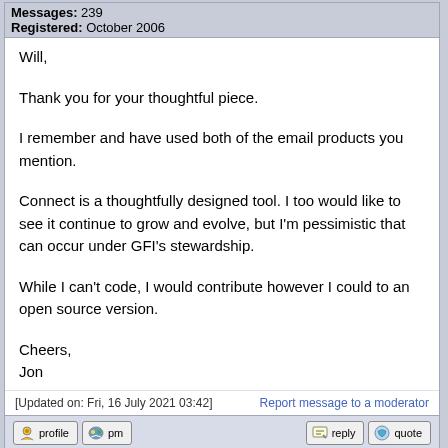Messages: 239
Registered: October 2006
Will,

Thank you for your thoughtful piece.

I remember and have used both of the email products you mention.

Connect is a thoughtfully designed tool. I too would like to see it continue to grow and evolve, but I'm pessimistic that can occur under GFI's stewardship.

While I can't code, I would contribute however I could to an open source version.

Cheers,
Jon
[Updated on: Fri, 16 July 2021 03:42]
profile  pm  reply  quote